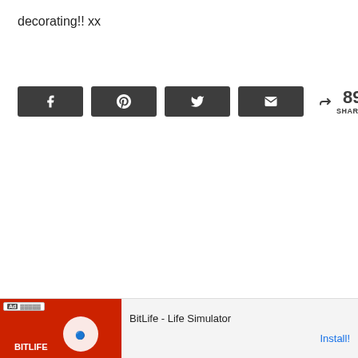decorating!! xx
[Figure (other): Social share buttons row: Facebook, Pinterest, Twitter, Email buttons with 89 SHARES count]
[Figure (other): Advertisement banner: BitLife - Life Simulator app ad with Install button]